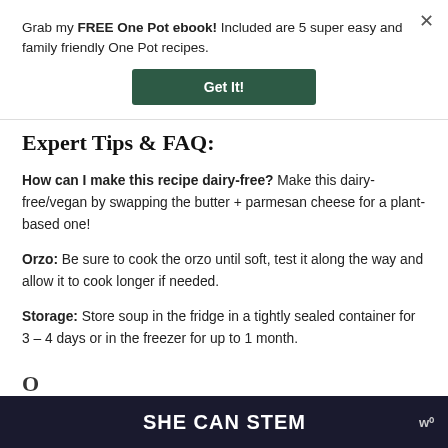Grab my FREE One Pot ebook! Included are 5 super easy and family friendly One Pot recipes.
Get It!
Expert Tips & FAQ:
How can I make this recipe dairy-free? Make this dairy-free/vegan by swapping the butter + parmesan cheese for a plant-based one!
Orzo: Be sure to cook the orzo until soft, test it along the way and allow it to cook longer if needed.
Storage: Store soup in the fridge in a tightly sealed container for 3 – 4 days or in the freezer for up to 1 month.
SHE CAN STEM